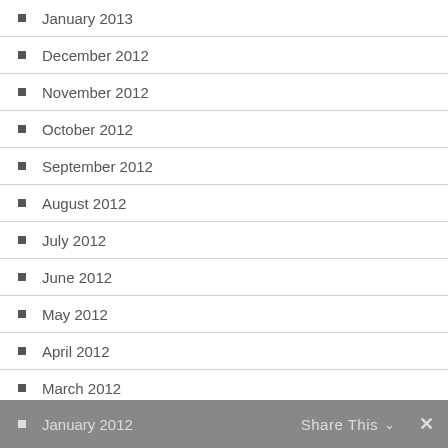January 2013
December 2012
November 2012
October 2012
September 2012
August 2012
July 2012
June 2012
May 2012
April 2012
March 2012
February 2012
January 2012